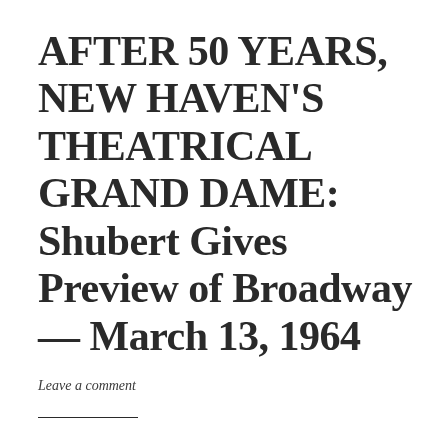AFTER 50 YEARS, NEW HAVEN'S THEATRICAL GRAND DAME: Shubert Gives Preview of Broadway — March 13, 1964
Leave a comment